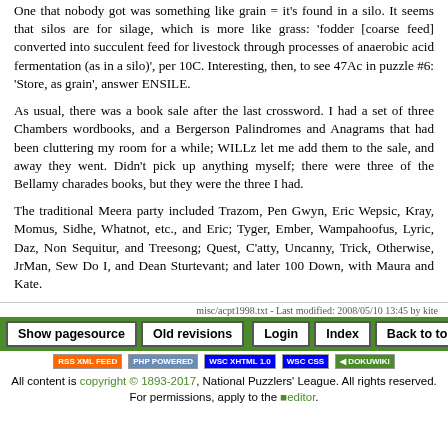One that nobody got was something like grain = it's found in a silo. It seems that silos are for silage, which is more like grass: 'fodder [coarse feed] converted into succulent feed for livestock through processes of anaerobic acid fermentation (as in a silo)', per 10C. Interesting, then, to see 47Ac in puzzle #6: 'Store, as grain', answer ENSILE.
As usual, there was a book sale after the last crossword. I had a set of three Chambers wordbooks, and a Bergerson Palindromes and Anagrams that had been cluttering my room for a while; WILLz let me add them to the sale, and away they went. Didn't pick up anything myself; there were three of the Bellamy charades books, but they were the three I had.
The traditional Meera party included Trazom, Pen Gwyn, Eric Wepsic, Kray, Momus, Sidhe, Whatnot, etc., and Eric; Tyger, Ember, Wampahoofus, Lyric, Daz, Non Sequitur, and Treesong; Quest, C'atty, Uncanny, Trick, Otherwise, JrMan, Sew Do I, and Dean Sturtevant; and later 100 Down, with Maura and Kate.
misc/acpt1998.txt - Last modified: 2008/05/10 13:45 by kite
Show pagesource | Old revisions | Login | Index | Back to top
All content is copyright © 1893-2017, National Puzzlers' League. All rights reserved. For permissions, apply to the editor.